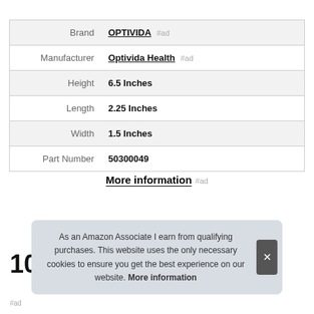|  |  |
| --- | --- |
| Brand | OPTIVIDA #ad |
| Manufacturer | Optivida Health #ad |
| Height | 6.5 Inches |
| Length | 2.25 Inches |
| Width | 1.5 Inches |
| Part Number | 50300049 |
More information #ad
As an Amazon Associate I earn from qualifying purchases. This website uses the only necessary cookies to ensure you get the best experience on our website. More information